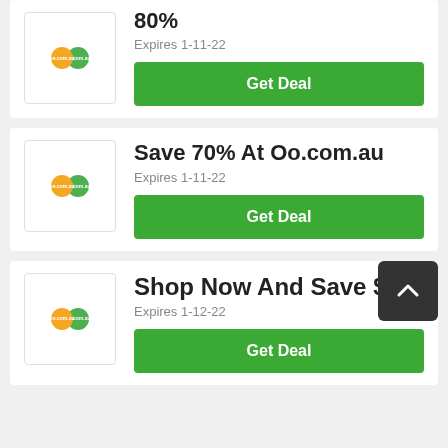[Figure (logo): Oo.com.au logo - orange and green overlapping circles]
80%
Expires 1-11-22
Get Deal
[Figure (logo): Oo.com.au logo - orange and green overlapping circles]
Save 70% At Oo.com.au
Expires 1-11-22
Get Deal
[Figure (logo): Oo.com.au logo - orange and green overlapping circles]
Shop Now And Save $29
Expires 1-12-22
Get Deal